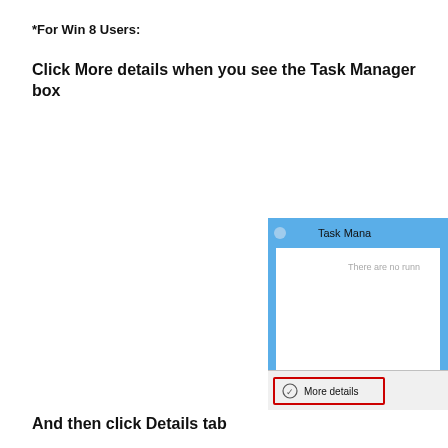*For Win 8 Users:
Click More details when you see the Task Manager box
[Figure (screenshot): Windows 8 Task Manager dialog box showing 'There are no runn...' text and a 'More details' button at the bottom highlighted with a red rectangle border. The window has a blue title bar with 'Task Mana...' text and a small icon.]
And then click Details tab